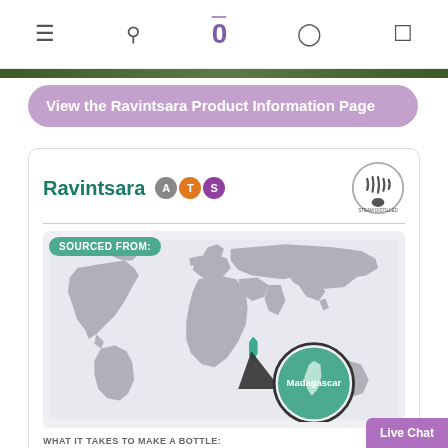Navigation bar with menu, search, logo (0), account, and cart icons
[Figure (screenshot): Green nature photo strip at top]
View the Ravintsara Product Information Page
[Figure (infographic): Ravintsara product info card with ATS badges, steam distilled logo, world map showing sourced from Madagascar with teal pointer callout, and 'WHAT IT TAKES TO MAKE A BOTTLE:' section header]
WHAT IT TAKES TO MAKE A BOTTLE:
Live Chat